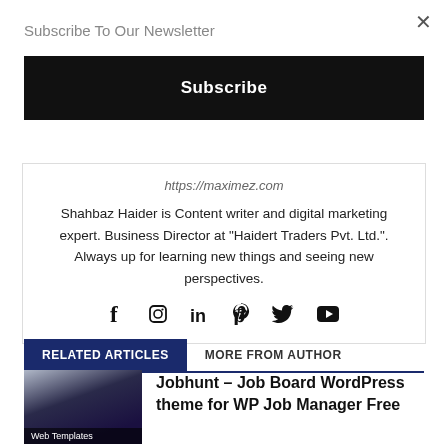Subscribe To Our Newsletter
×
Subscribe
https://maximez.com
Shahbaz Haider is Content writer and digital marketing expert. Business Director at "Haidert Traders Pvt. Ltd.". Always up for learning new things and seeing new perspectives.
[Figure (illustration): Social media icons: Facebook, Instagram, LinkedIn, Pinterest, Twitter, YouTube]
RELATED ARTICLES
MORE FROM AUTHOR
[Figure (screenshot): Jobhunt WordPress theme screenshot showing job board interface with dark background]
Web Templates
Jobhunt – Job Board WordPress theme for WP Job Manager Free